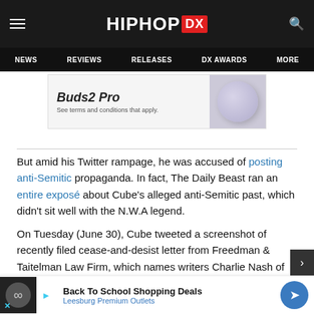HipHopDX — NEWS | REVIEWS | RELEASES | DX AWARDS | MORE
[Figure (advertisement): Samsung Galaxy Buds2 Pro advertisement banner with earphone image]
But amid his Twitter rampage, he was accused of posting anti-Semitic propaganda. In fact, The Daily Beast ran an entire exposé about Cube's alleged anti-Semitic past, which didn't sit well with the N.W.A legend.
On Tuesday (June 30), Cube tweeted a screenshot of recently filed cease-and-desist letter from Freedman & Taitelman Law Firm, which names writers Charlie Nash of Media...
[Figure (advertisement): Back To School Shopping Deals — Leesburg Premium Outlets advertisement]